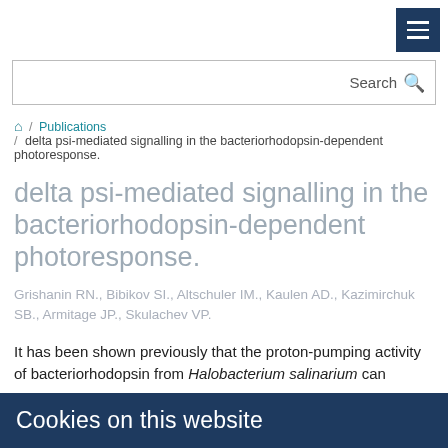Menu navigation button
Search
Home / Publications / delta psi-mediated signalling in the bacteriorhodopsin-dependent photoresponse.
delta psi-mediated signalling in the bacteriorhodopsin-dependent photoresponse.
Grishanin RN., Bibikov SI., Altschuler IM., Kaulen AD., Kazimirchuk SB., Armitage JP., Skulachev VP.
It has been shown previously that the proton-pumping activity of bacteriorhodopsin from Halobacterium salinarium can
Cookies on this website